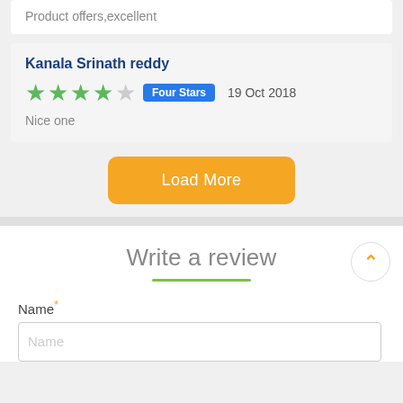Product offers,excellent
Kanala Srinath reddy
★★★★☆  Four Stars  19 Oct 2018
Nice one
Load More
Write a review
Name *
Name